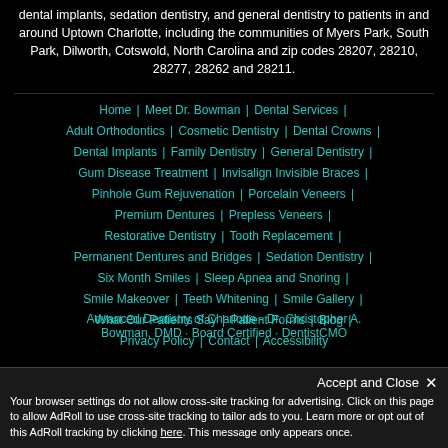dental implants, sedation dentistry, and general dentistry to patients in and around Uptown Charlotte, including the communities of Myers Park, South Park, Dilworth, Cotswold, North Carolina and zip codes 28207, 28210, 28277, 28262 and 28211.
Home | Meet Dr. Bowman | Dental Services | Adult Orthodontics | Cosmetic Dentistry | Dental Crowns | Dental Implants | Family Dentistry | General Dentistry | Gum Disease Treatment | Invisalign Invisible Braces | Pinhole Gum Rejuvenation | Porcelain Veneers | Premium Dentures | Prepless Veneers | Restorative Dentistry | Tooth Replacement | Permanent Dentures and Bridges | Sedation Dentistry | Six Month Smiles | Sleep Apnea and Snoring | Smile Makeover | Teeth Whitening | Smile Gallery | What Our Patients Say | Patient Forms | Blog | Privacy Policy | Contact | Accessibility
Advanced Dentistry of Charlotte - Dr. Christopher A. Bowman, DMD · Board Certified · DentistCMO
Accept and Close ✕
Your browser settings do not allow cross-site tracking for advertising. Click on this page to allow AdRoll to use cross-site tracking to tailor ads to you. Learn more or opt out of this AdRoll tracking by clicking here. This message only appears once.